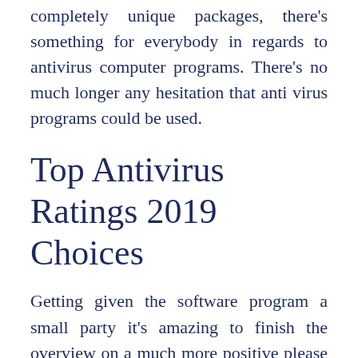completely unique packages, there's something for everybody in regards to antivirus computer programs. There's no much longer any hesitation that anti virus programs could be used.
Top Antivirus Ratings 2019 Choices
Getting given the software program a small party it's amazing to finish the overview on a much more positive please note. Customer critical reviews, on the flip side, invariably is an excellent guide to problems that